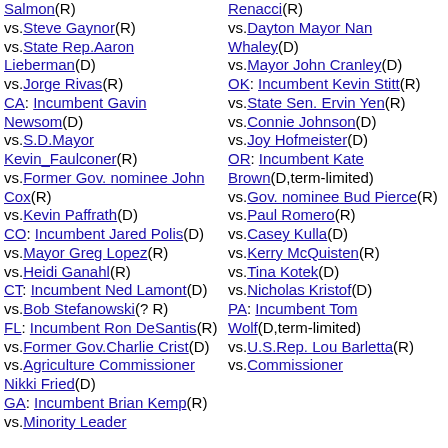Salmon(R) vs.Steve Gaynor(R) vs.State Rep.Aaron Lieberman(D) vs.Jorge Rivas(R) CA: Incumbent Gavin Newsom(D) vs.S.D.Mayor Kevin_Faulconer(R) vs.Former Gov. nominee John Cox(R) vs.Kevin Paffrath(D) CO: Incumbent Jared Polis(D) vs.Mayor Greg Lopez(R) vs.Heidi Ganahl(R) CT: Incumbent Ned Lamont(D) vs.Bob Stefanowski(? R) FL: Incumbent Ron DeSantis(R) vs.Former Gov.Charlie Crist(D) vs.Agriculture Commissioner Nikki Fried(D) GA: Incumbent Brian Kemp(R) vs.Minority Leader
Renacci(R) vs.Dayton Mayor Nan Whaley(D) vs.Mayor John Cranley(D) OK: Incumbent Kevin Stitt(R) vs.State Sen. Ervin Yen(R) vs.Connie Johnson(D) vs.Joy Hofmeister(D) OR: Incumbent Kate Brown(D,term-limited) vs.Gov. nominee Bud Pierce(R) vs.Paul Romero(R) vs.Casey Kulla(D) vs.Kerry McQuisten(R) vs.Tina Kotek(D) vs.Nicholas Kristof(D) PA: Incumbent Tom Wolf(D,term-limited) vs.U.S.Rep. Lou Barletta(R) vs.Commissioner